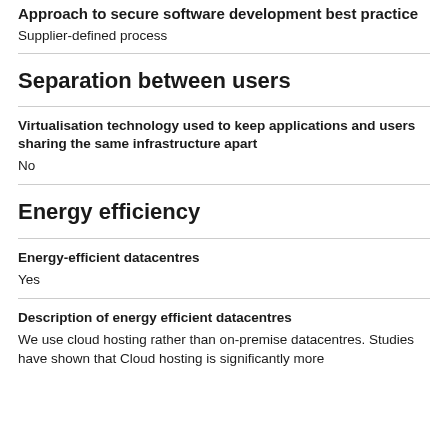Approach to secure software development best practice
Supplier-defined process
Separation between users
Virtualisation technology used to keep applications and users sharing the same infrastructure apart
No
Energy efficiency
Energy-efficient datacentres
Yes
Description of energy efficient datacentres
We use cloud hosting rather than on-premise datacentres. Studies have shown that Cloud hosting is significantly more